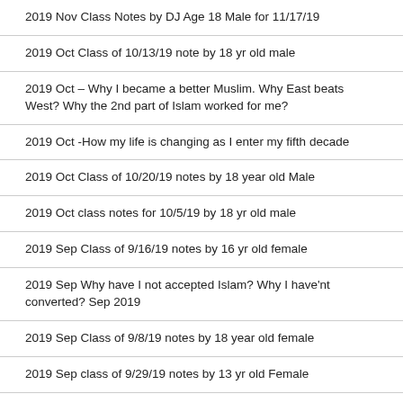2019 Nov Class Notes by DJ Age 18 Male for 11/17/19
2019 Oct Class of 10/13/19 note by 18 yr old male
2019 Oct – Why I became a better Muslim. Why East beats West? Why the 2nd part of Islam worked for me?
2019 Oct -How my life is changing as I enter my fifth decade
2019 Oct Class of 10/20/19 notes by 18 year old Male
2019 Oct class notes for 10/5/19 by 18 yr old male
2019 Sep Class of 9/16/19 notes by 16 yr old female
2019 Sep Why have I not accepted Islam? Why I have'nt converted? Sep 2019
2019 Sep Class of 9/8/19 notes by 18 year old female
2019 Sep class of 9/29/19 notes by 13 yr old Female
2019 May Feed back on Ramadan 2019 Class Sat and Sun for adult
2019 May class of 30 March 2019 notes by 25 year old male